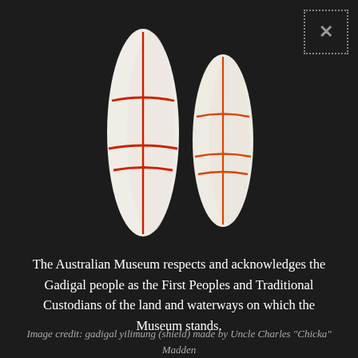[Figure (photo): Two elongated leaf/shield-shaped objects (gadigal yilimung shields) photographed against a dark background. The left shield is taller and has dark red painted lines forming a cross and two horizontal bands. The right shield is shorter and has orange-red painted lines in a similar cross-and-bands pattern.]
The Australian Museum respects and acknowledges the Gadigal people as the First Peoples and Traditional Custodians of the land and waterways on which the Museum stands.
Image credit: gadigal yilimung (shield) made by Uncle Charles "Chicka" Madden